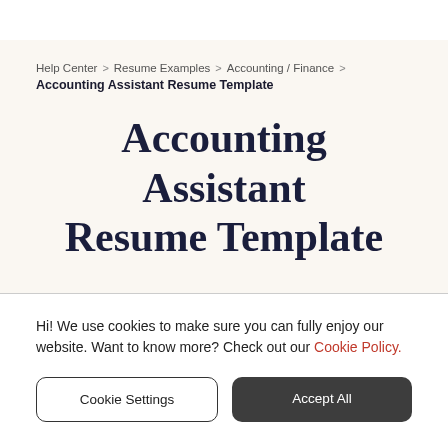Help Center > Resume Examples > Accounting / Finance > Accounting Assistant Resume Template
Accounting Assistant Resume Template
Hi! We use cookies to make sure you can fully enjoy our website. Want to know more? Check out our Cookie Policy.
Cookie Settings
Accept All